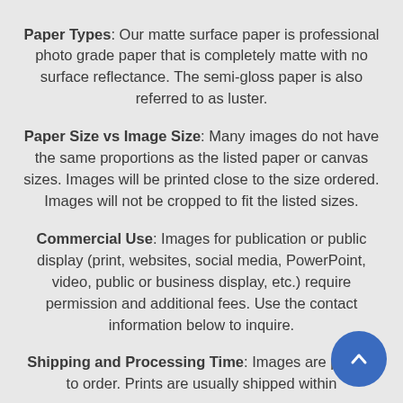Paper Types: Our matte surface paper is professional photo grade paper that is completely matte with no surface reflectance. The semi-gloss paper is also referred to as luster.
Paper Size vs Image Size: Many images do not have the same proportions as the listed paper or canvas sizes. Images will be printed close to the size ordered. Images will not be cropped to fit the listed sizes.
Commercial Use: Images for publication or public display (print, websites, social media, PowerPoint, video, public or business display, etc.) require permission and additional fees. Use the contact information below to inquire.
Shipping and Processing Time: Images are printed to order. Prints are usually shipped within